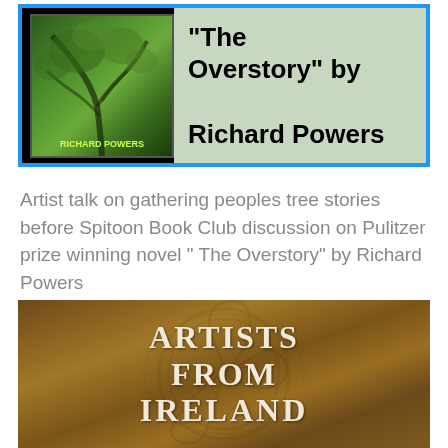[Figure (illustration): Book event banner with blue border on black background. Left side shows book cover of 'The Overstory' by Richard Powers with tree imagery. Right side shows light green/gray panel with title text 'Overstory" by Richard Powers' in bold black.]
Artist talk on gathering peoples tree stories before Spitoon Book Club discussion on Pulitzer prize winning novel " The Overstory" by Richard Powers
[Figure (illustration): Dark golden-brown textured background with Celtic knot pattern overlay. Large white serif text reads 'ARTISTS FROM IRELAND' in three lines centered on the image.]